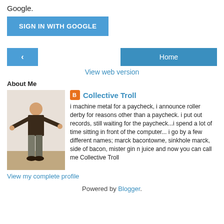Google.
[Figure (other): Blue 'SIGN IN WITH GOOGLE' button]
[Figure (other): Navigation row with back arrow button and Home button]
View web version
About Me
[Figure (photo): Profile photo of a person standing with arms out in a room]
Collective Troll
i machine metal for a paycheck, i announce roller derby for reasons other than a paycheck. i put out records, still waiting for the paycheck...i spend a lot of time sitting in front of the computer... i go by a few different names; marck bacontowne, sinkhole marck, side of bacon, mister gin n juice and now you can call me Collective Troll
View my complete profile
Powered by Blogger.